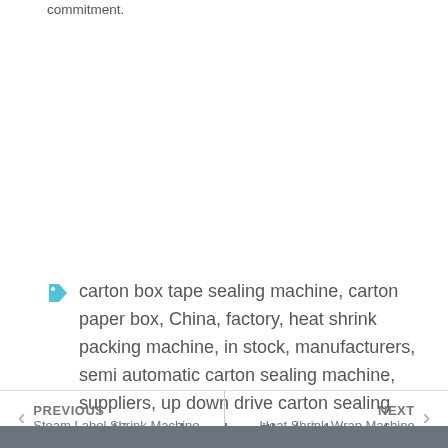commitment.
carton box tape sealing machine, carton paper box, China, factory, heat shrink packing machine, in stock, manufacturers, semi automatic carton sealing machine, suppliers, up down drive carton sealing machine, web sealer with shrink tunnel machine, wrapper sealing machine
PREVIOUS Steam Label Shrink Machine   NEXT Heat Shrink Wrap Machine